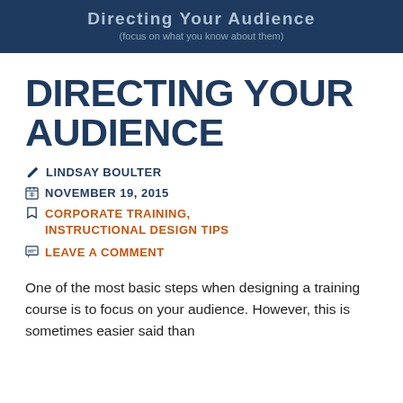[Figure (other): Dark blue header banner with text 'Directing Your Audience' and subtitle '(focus on what you know about them)']
DIRECTING YOUR AUDIENCE
✏ LINDSAY BOULTER
⊞ NOVEMBER 19, 2015
◻ CORPORATE TRAINING, INSTRUCTIONAL DESIGN TIPS
▭ LEAVE A COMMENT
One of the most basic steps when designing a training course is to focus on your audience. However, this is sometimes easier said than